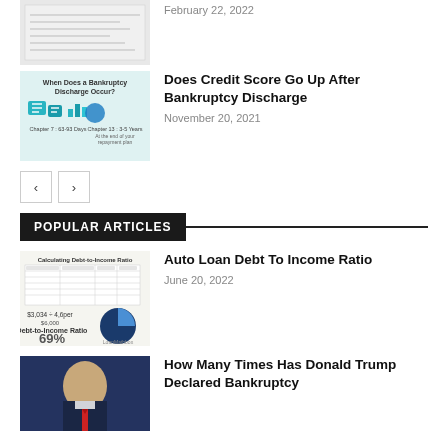[Figure (screenshot): Partially visible article thumbnail with document/check image and Exclusive badge]
February 22, 2022
[Figure (illustration): Bankruptcy discharge infographic thumbnail with teal icons and text 'When Does a Bankruptcy Discharge Occur?' with Exclusive badge]
Does Credit Score Go Up After Bankruptcy Discharge
November 20, 2021
POPULAR ARTICLES
[Figure (infographic): Debt-to-income ratio infographic showing table and pie chart with 69%]
Auto Loan Debt To Income Ratio
June 20, 2022
[Figure (photo): Photo of Donald Trump at debate with dark blue background]
How Many Times Has Donald Trump Declared Bankruptcy